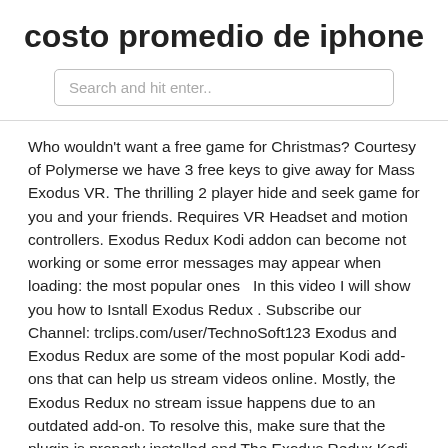costo promedio de iphone
Search and hit enter..
Who wouldn't want a free game for Christmas? Courtesy of Polymerse we have 3 free keys to give away for Mass Exodus VR. The thrilling 2 player hide and seek game for you and your friends. Requires VR Headset and motion controllers. Exodus Redux Kodi addon can become not working or some error messages may appear when loading: the most popular ones   In this video I will show you how to Isntall Exodus Redux . Subscribe our Channel: trclips.com/user/TechnoSoft123 Exodus and Exodus Redux are some of the most popular Kodi add-ons that can help us stream videos online. Mostly, the Exodus Redux no stream issue happens due to an outdated add-on. To resolve this, make sure that the plugin is properly installed and The Exodus Redux Kodi add-on is solely based on a web scraper module called LambdaScraper, a fork of a popular web  In case you are looking for a reliable and fast on-demand streaming Kodi add-on, then we recommend using Exodus Redux primarily.